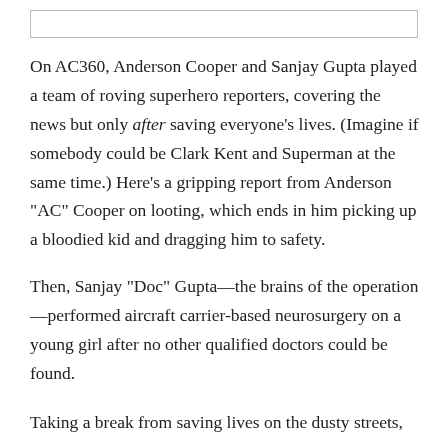[Figure (other): Empty white box at top of page]
On AC360, Anderson Cooper and Sanjay Gupta played a team of roving superhero reporters, covering the news but only after saving everyone's lives. (Imagine if somebody could be Clark Kent and Superman at the same time.) Here's a gripping report from Anderson "AC" Cooper on looting, which ends in him picking up a bloodied kid and dragging him to safety.
Then, Sanjay "Doc" Gupta—the brains of the operation—performed aircraft carrier-based neurosurgery on a young girl after no other qualified doctors could be found.
Taking a break from saving lives on the dusty streets,